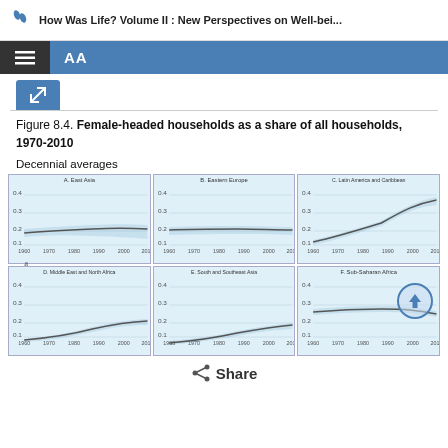How Was Life? Volume II : New Perspectives on Well-bei...
Figure 8.4. Female-headed households as a share of all households, 1970-2010
Decennial averages
[Figure (line-chart): Line chart showing female-headed households as a share of all households for East Asia, decennial averages 1960-2010. Values around 0.15-0.18.]
[Figure (line-chart): Line chart showing female-headed households as a share of all households for Eastern Europe, decennial averages 1960-2010. Values around 0.16-0.18.]
[Figure (line-chart): Line chart showing female-headed households as a share of all households for Latin America and Caribbean, decennial averages 1960-2010. Values rising from about 0.13 to 0.33.]
[Figure (line-chart): Line chart showing female-headed households as a share of all households for Middle East and North Africa, decennial averages 1960-2010. Values rising from about 0.12 to 0.17.]
[Figure (line-chart): Line chart showing female-headed households as a share of all households for South and Southeast Asia, decennial averages 1960-2010. Values rising from about 0.10 to 0.15.]
[Figure (line-chart): Line chart showing female-headed households as a share of all households for Sub-Saharan Africa, decennial averages 1960-2010. Values around 0.24-0.27.]
Share